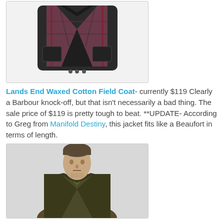[Figure (photo): Dark olive/black waxed cotton field coat laid flat, open showing plaid lining, with snap buttons visible]
Lands End Waxed Cotton Field Coat- currently $119 Clearly a Barbour knock-off, but that isn't necessarily a bad thing. The sale price of $119 is pretty tough to beat. **UPDATE- According to Greg from Manifold Destiny, this jacket fits like a Beaufort in terms of length.
[Figure (photo): Male model wearing an olive/dark waxed cotton jacket over a green plaid shirt, grey background]